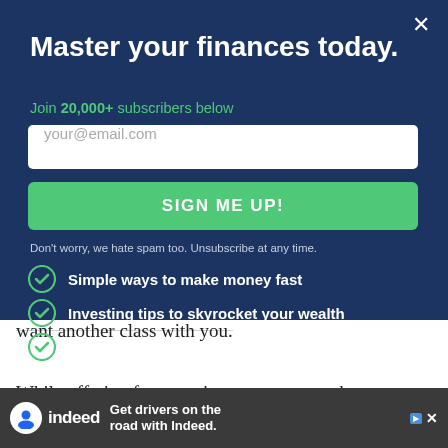Master your finances today.
Join 20,000+ subscribers below
your@email.com
SIGN ME UP!
Don't worry, we hate spam too. Unsubscribe at any time.
Simple ways to make money fast
Investing tips to skyrocket your wealth
Expert advice to save money fast
want another class with you.
While offering free tutoring may not sound
attra... t
[Figure (infographic): Indeed advertisement banner: 'Get drivers on the road with Indeed.']